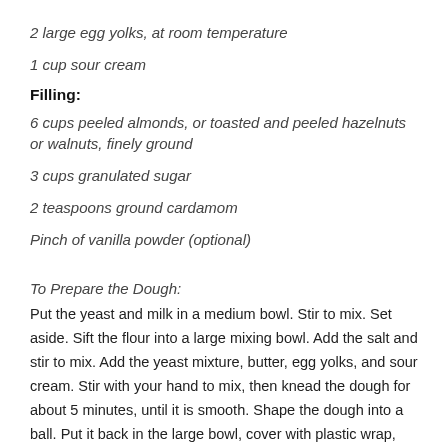2 large egg yolks, at room temperature
1 cup sour cream
Filling:
6 cups peeled almonds, or toasted and peeled hazelnuts or walnuts, finely ground
3 cups granulated sugar
2 teaspoons ground cardamom
Pinch of vanilla powder (optional)
To Prepare the Dough:
Put the yeast and milk in a medium bowl. Stir to mix. Set aside. Sift the flour into a large mixing bowl. Add the salt and stir to mix. Add the yeast mixture, butter, egg yolks, and sour cream. Stir with your hand to mix, then knead the dough for about 5 minutes, until it is smooth. Shape the dough into a ball. Put it back in the large bowl, cover with plastic wrap, and set aside to rest for 15 minutes (the dough is not